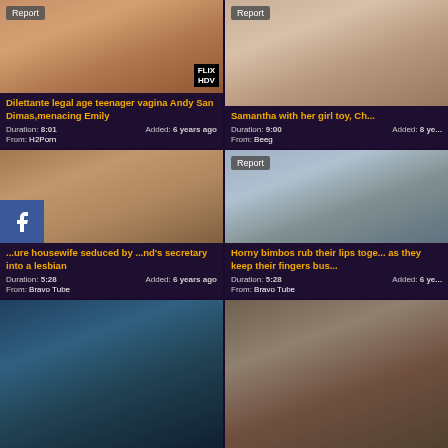[Figure (photo): Video thumbnail - first card top left]
Dilettante legal age teenager vagina Andy San Dimas,menacing Emily
Duration: 8:01   Added: 6 years ago   From: H2Porn
[Figure (photo): Video thumbnail - second card top right]
Samantha with her girl toy, Ch...
Duration: 9:00   Added: 8 years ago   From: Beeg
[Figure (photo): Video thumbnail - third card middle left with social share buttons overlay]
...ure housewife seduced by ...nd's secretary into a lesbian
Duration: 5:28   Added: 6 years ago   From: Bravo Tube
[Figure (photo): Video thumbnail - fourth card middle right]
Horny bimbos rub their lips toge... as they keep their fingers bus...
Duration: 5:28   Added: 6 years ago   From: Bravo Tube
[Figure (photo): Video thumbnail - fifth card bottom left, partially visible]
[Figure (photo): Video thumbnail - sixth card bottom right, partially visible]